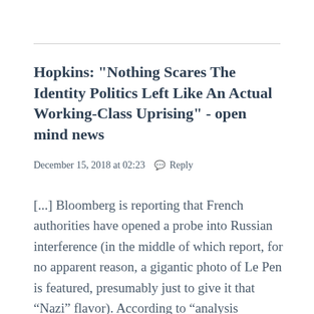Hopkins: "Nothing Scares The Identity Politics Left Like An Actual Working-Class Uprising" - open mind news
December 15, 2018 at 02:23   💬 Reply
[...] Bloomberg is reporting that French authorities have opened a probe into Russian interference (in the middle of which report, for no apparent reason, a gigantic photo of Le Pen is featured, presumably just to give it that “Nazi” flavor). According to “analysis